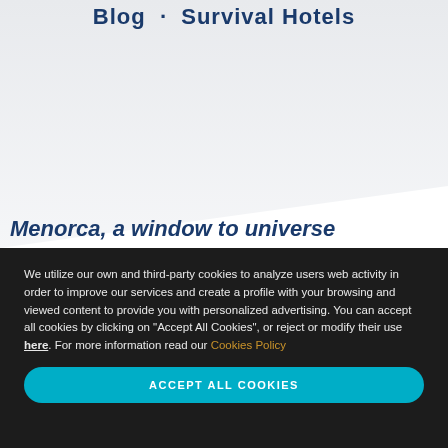Blog  ·  Survival Hotels
Menorca, a window to universe
We utilize our own and third-party cookies to analyze users web activity in order to improve our services and create a profile with your browsing and viewed content to provide you with personalized advertising. You can accept all cookies by clicking on "Accept All Cookies", or reject or modify their use here. For more information read our Cookies Policy
ACCEPT ALL COOKIES